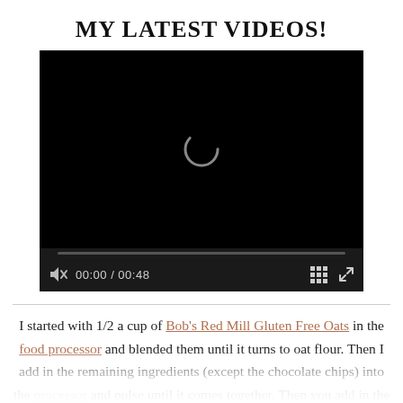MY LATEST VIDEOS!
[Figure (screenshot): Video player showing a black screen with a loading spinner, progress bar, and controls showing muted volume icon, time 00:00 / 00:48, grid/chapters icon, and fullscreen icon.]
I started with 1/2 a cup of Bob's Red Mill Gluten Free Oats in the food processor and blended them until it turns to oat flour. Then I add in the remaining ingredients (except the chocolate chips) into the processor and pulse until it comes together. Then you add in the chocolate chips